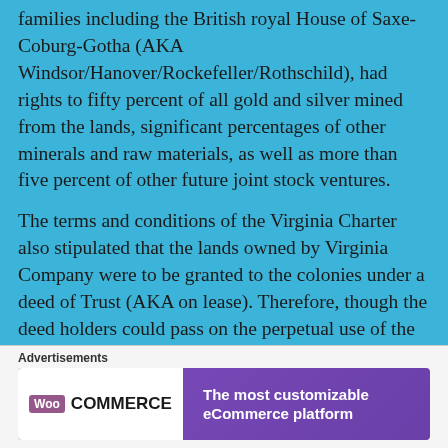families including the British royal House of Saxe-Coburg-Gotha (AKA Windsor/Hanover/Rockefeller/Rothschild), had rights to fifty percent of all gold and silver mined from the lands, significant percentages of other minerals and raw materials, as well as more than five percent of other future joint stock ventures.
The terms and conditions of the Virginia Charter also stipulated that the lands owned by Virginia Company were to be granted to the colonies under a deed of Trust (AKA on lease). Therefore, though the deed holders could pass on the perpetual use of the land to their heirs or sell the perpetual use, they could never own it through Allodial title
Advertisements
[Figure (other): WooCommerce advertisement banner: purple background with WooCommerce logo on white left panel and text 'The most customizable eCommerce platform' on the right]